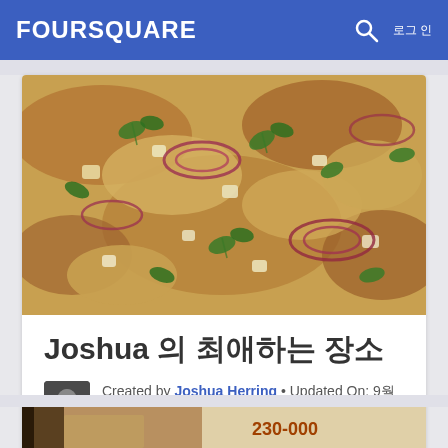FOURSQUARE  로그인
[Figure (photo): Close-up photo of a pizza topped with chicken, red onions, melted cheese, and fresh cilantro/herbs on a tomato sauce base]
Joshua 의 최애하는 장소
Created by Joshua Herring • Updated On: 9월 7, 2016
페공유  트공유